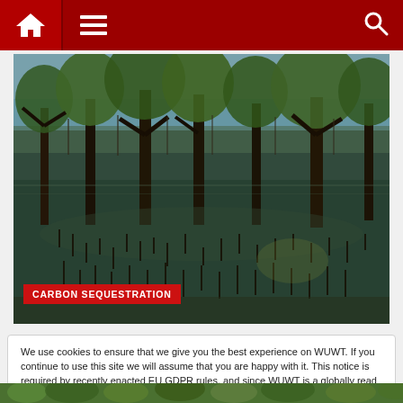[Figure (screenshot): Website navigation bar with home icon, hamburger menu icon, and search icon on dark red background]
[Figure (photo): Mangrove forest with trees standing in flooded water, roots and pneumatophores visible, green canopy above calm reflective water surface]
CARBON SEQUESTRATION
We use cookies to ensure that we give you the best experience on WUWT. If you continue to use this site we will assume that you are happy with it. This notice is required by recently enacted EU GDPR rules, and since WUWT is a globally read website, we need to keep the bureaucrats off our case! Cookie Policy
Close and accept